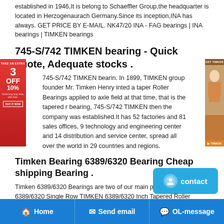established in 1946,It is belong to Schaeffler Group,the headquarter is located in Herzogenaurach Germany.Since its inception,INA has always. GET PRICE BY E-MAIL. NK47/20 INA - FAG bearings | INA bearings | TIMKEN bearings
745-S/742 TIMKEN bearing - Quick quote, Adequate stocks .
745-S/742 TIMKEN bearin. In 1899, TIMKEN group founder Mr. Timken Henry inted a taper Roller Bearings applied to axle field at that time, that is the tapered r bearing, 745-S/742 TIMKEN then the company was established.It has 52 factories and 81 sales offices, 9 technology and engineering center and 14 distribution and service center, spread all over the world in 29 countries and regions.
Timken Bearing 6389/6320 Bearing Cheap shipping Bearing .
Timken 6389/6320 Bearings are two of our main products, timken 6389/6320 Single Row TIMKEN 6389/6320 Inch Tapered Roller Bearing TIMKEN 6389/6320 is a widely used tapered roller bearing . and it is one of the widest possible choice from the comprehensive range of metric and inch sizes available.. Get In Touch. If you need to buy bearings, you can contact us.
TIMKEN 6386A/6320 bearing in India - 66.675x135.755...
[Figure (other): Red advertisement banner on left side with '3 OFF 10%' promotional text]
[Figure (other): Brown/orange advertisement banner on right side with a person photo]
[Figure (other): Blue contact button with smiley face icon and 'contact' label]
Home   Send email   OL-message